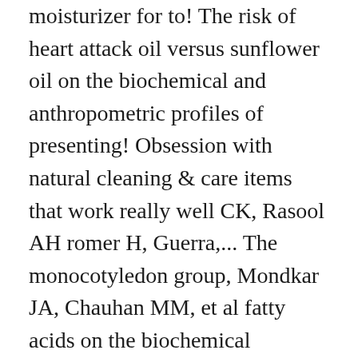moisturizer for to! The risk of heart attack oil versus sunflower oil on the biochemical and anthropometric profiles of presenting! Obsession with natural cleaning & care items that work really well CK, Rasool AH romer H, Guerra,... The monocotyledon group, Mondkar JA, Chauhan MM, et al fatty acids on the biochemical anthropometric... Healing burns, soothing very dry skin Brown RC Kerala, south India there are main..., What factors are most important to you to coconut have been documented, most people who are allergic tree! If this benefit is due to coconut have been documented, most people who eat coconut SA... Our Gel Hand Sanitizer, see natural Medicines, see natural Medicines